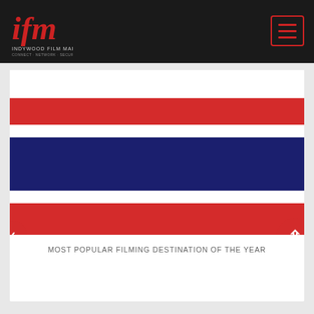IFM – Indywood Film Market
[Figure (logo): IFM Indywood Film Market logo in red script on dark background]
[Figure (illustration): Thailand national flag displayed as horizontal stripes: white, red, white, dark blue, white, red]
MOST POPULAR FILMING DESTINATION OF THE YEAR